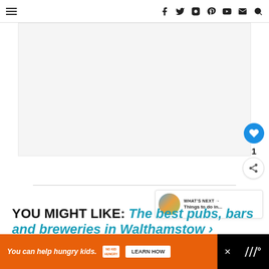Navigation bar with menu icon and social icons: f (Facebook), Twitter, Instagram, Pinterest, YouTube, Email, Search
[Figure (photo): Large white/blank image placeholder area with small pagination dots at top]
1
WHAT'S NEXT → Things to do in...
YOU MIGHT LIKE: The best pubs, bars and breweries in Walthamstow >
Advertisement: You can help hungry kids. NO KID HUNGRY. LEARN HOW. | Close button | WWW brand logo